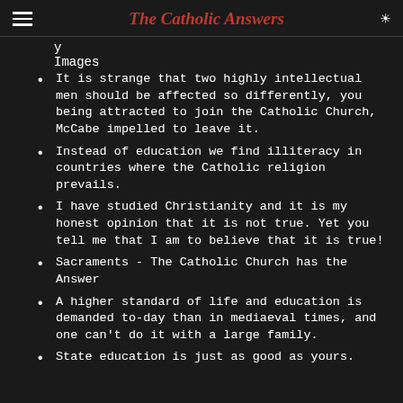The Catholic Answers
y
Images
It is strange that two highly intellectual men should be affected so differently, you being attracted to join the Catholic Church, McCabe impelled to leave it.
Instead of education we find illiteracy in countries where the Catholic religion prevails.
I have studied Christianity and it is my honest opinion that it is not true. Yet you tell me that I am to believe that it is true!
Sacraments - The Catholic Church has the Answer
A higher standard of life and education is demanded to-day than in mediaeval times, and one can't do it with a large family.
State education is just as good as yours.